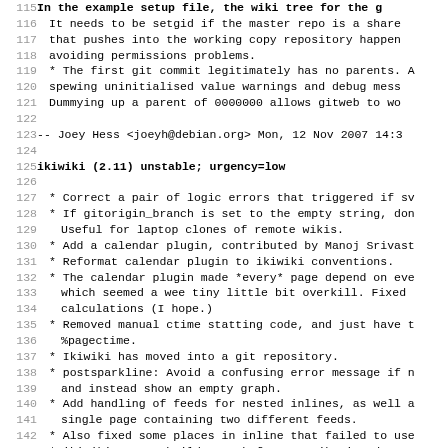Lines 115-147 of a Debian changelog / software release notes file (ikiwiki), showing bullet points and version entries in monospace format.